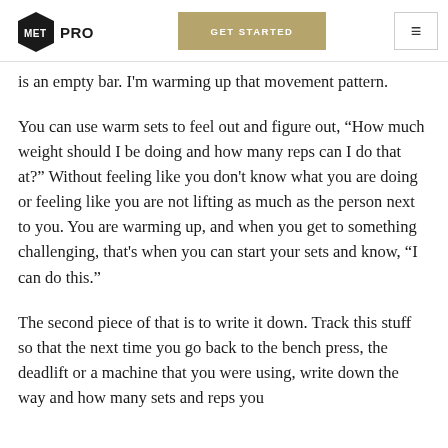MET PRO | GET STARTED
is an empty bar. I'm warming up that movement pattern.
You can use warm sets to feel out and figure out, “How much weight should I be doing and how many reps can I do that at?” Without feeling like you don't know what you are doing or feeling like you are not lifting as much as the person next to you. You are warming up, and when you get to something challenging, that's when you can start your sets and know, “I can do this.”
The second piece of that is to write it down. Track this stuff so that the next time you go back to the bench press, the deadlift or a machine that you were using, write down the way and how many sets and reps you